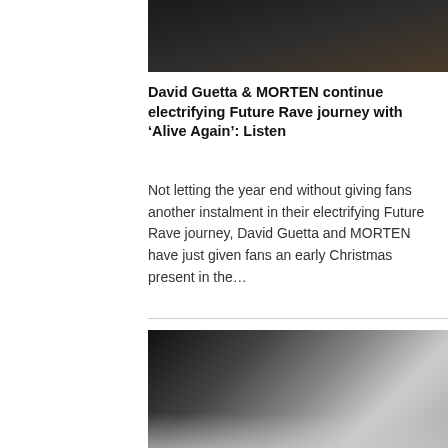[Figure (photo): Partial photo of people, dark background, showing lower portion of figures in dark clothing]
David Guetta & MORTEN continue electrifying Future Rave journey with ‘Alive Again’: Listen
Not letting the year end without giving fans another instalment in their electrifying Future Rave journey, David Guetta and MORTEN have just given fans an early Christmas present in the…
[Figure (photo): Black and white photo of two people, partial view showing heads/faces]